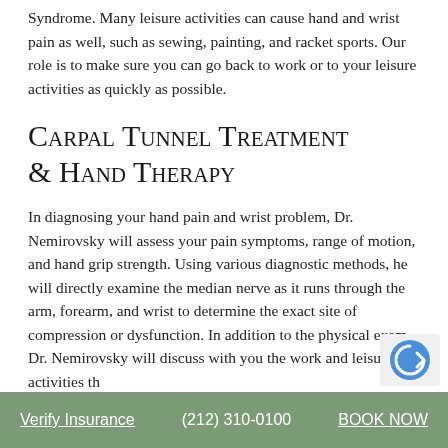Syndrome. Many leisure activities can cause hand and wrist pain as well, such as sewing, painting, and racket sports. Our role is to make sure you can go back to work or to your leisure activities as quickly as possible.
Carpal Tunnel Treatment & Hand Therapy
In diagnosing your hand pain and wrist problem, Dr. Nemirovsky will assess your pain symptoms, range of motion, and hand grip strength. Using various diagnostic methods, he will directly examine the median nerve as it runs through the arm, forearm, and wrist to determine the exact site of compression or dysfunction. In addition to the physical exam, Dr. Nemirovsky will discuss with you the work and leisure activities th...
Verify Insurance   (212) 310-0100   BOOK NOW